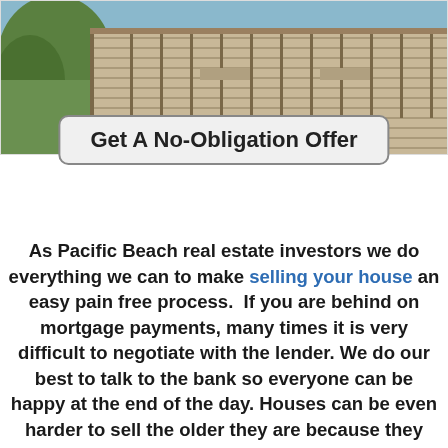[Figure (photo): Outdoor photo of a wooden deck/boardwalk extending over water, with trees on the left and railing structures visible. A button overlay reads 'Get A No-Obligation Offer'.]
As Pacific Beach real estate investors we do everything we can to make selling your house an easy pain free process.  If you are behind on mortgage payments, many times it is very difficult to negotiate with the lender. We do our best to talk to the bank so everyone can be happy at the end of the day. Houses can be even harder to sell the older they are because they usually need the most repairs and updating, if you are looking for someone that is able to buy your house now